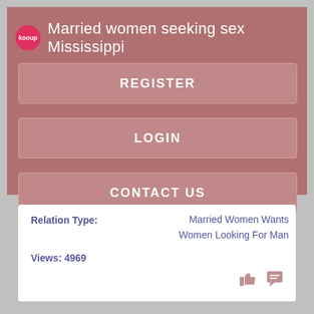[Figure (screenshot): Mobile app UI screenshot showing a dating/social website called 'kooup' with title 'Married women seeking sex Mississippi', three buttons (REGISTER, LOGIN, CONTACT US), and a card showing relation type and view count]
Married women seeking sex Mississippi
REGISTER
LOGIN
CONTACT US
Relation Type:  Married Women Wants Women Looking For Man
Views: 4969